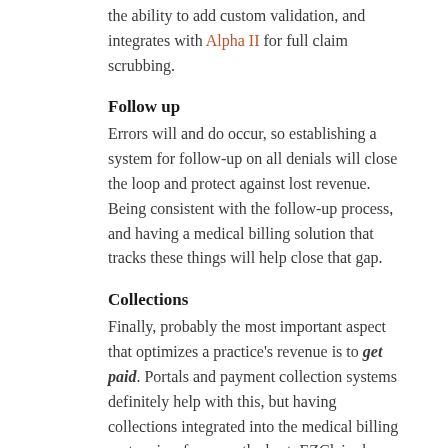the ability to add custom validation, and integrates with Alpha II for full claim scrubbing.
Follow up
Errors will and do occur, so establishing a system for follow-up on all denials will close the loop and protect against lost revenue. Being consistent with the follow-up process, and having a medical billing solution that tracks these things will help close that gap.
Collections
Finally, probably the most important aspect that optimizes a practice's revenue is to get paid. Portals and payment collection systems definitely help with this, but having collections integrated into the medical billing system is, of course, the best. EZClaim has pain-free payment processing integrated into their solution, called EZClaimPay. It solves all the problems associated with payment processing: Bank